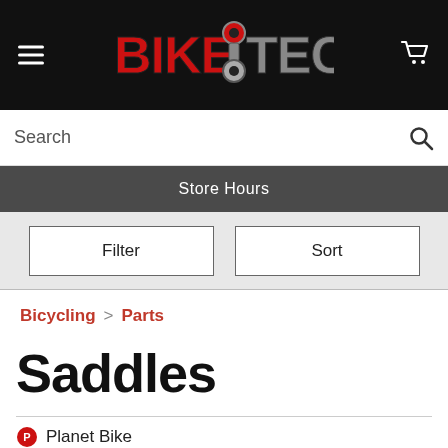[Figure (logo): BikeTech logo with red and grey chain link graphic on black background]
Search
Store Hours
Filter
Sort
Bicycling > Parts
Saddles
Planet Bike